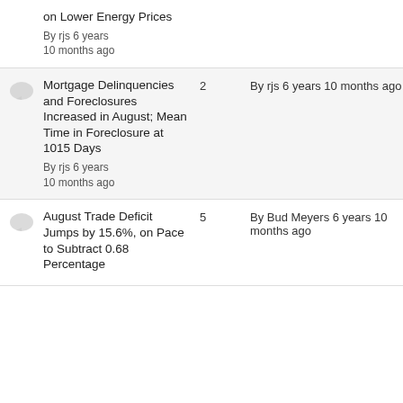on Lower Energy Prices
By rjs 6 years 10 months ago
Mortgage Delinquencies and Foreclosures Increased in August; Mean Time in Foreclosure at 1015 Days
By rjs 6 years 10 months ago
2 By rjs 6 years 10 months ago
August Trade Deficit Jumps by 15.6%, on Pace to Subtract 0.68 Percentage
5 By Bud Meyers 6 years 10 months ago